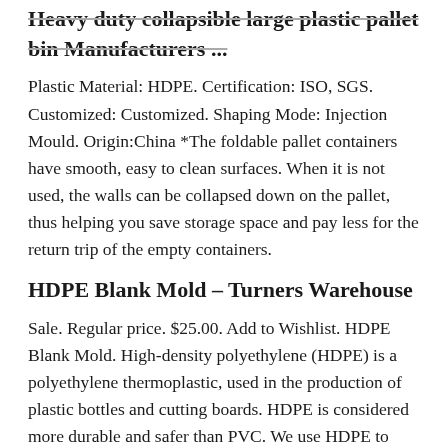Heavy duty collapsible large plastic pallet bin Manufacturers ...
Plastic Material: HDPE. Certification: ISO, SGS. Customized: Customized. Shaping Mode: Injection Mould. Origin:China *The foldable pallet containers have smooth, easy to clean surfaces. When it is not used, the walls can be collapsed down on the pallet, thus helping you save storage space and pay less for the return trip of the empty containers.
HDPE Blank Mold – Turners Warehouse
Sale. Regular price. $25.00. Add to Wishlist. HDPE Blank Mold. High-density polyethylene (HDPE) is a polyethylene thermoplastic, used in the production of plastic bottles and cutting boards. HDPE is considered more durable and safer than PVC. We use HDPE to make an alternative to our pink and blue silicone molds, and it is available in most ...